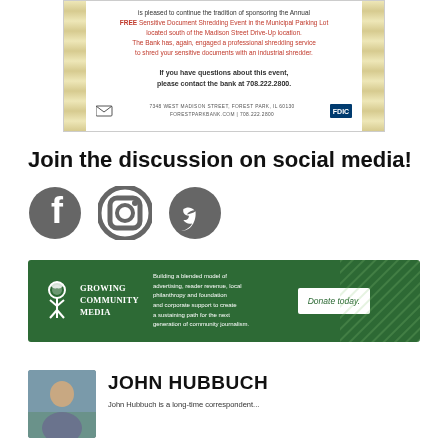[Figure (infographic): Bank advertisement for FREE Sensitive Document Shredding Event with decorative floral border. Text: is pleased to continue the tradition of sponsoring the Annual FREE Sensitive Document Shredding Event in the Municipal Parking Lot located south of the Madison Street Drive-Up location. The Bank has, again, engaged a professional shredding service to shred your sensitive documents with an industrial shredder. If you have questions about this event, please contact the bank at 708.222.2800. 7348 WEST MADISON STREET, FOREST PARK, IL 60130 FORESTPARKBANK.COM | 708.222.2800]
Join the discussion on social media!
[Figure (infographic): Three social media icons: Facebook (circle with F), Instagram (camera icon), Twitter (bird icon), all in dark gray]
[Figure (infographic): Growing Community Media banner ad on green background. Logo with tree/person icon. Tagline: Building a blended model of advertising, reader revenue, local philanthropy and foundation and corporate support to create a sustaining path for the next generation of community journalism. Button: Donate today.]
[Figure (photo): Headshot photo of John Hubbuch, a man in a purple shirt outdoors]
JOHN HUBBUCH
John Hubbuch is a long-time correspondent...